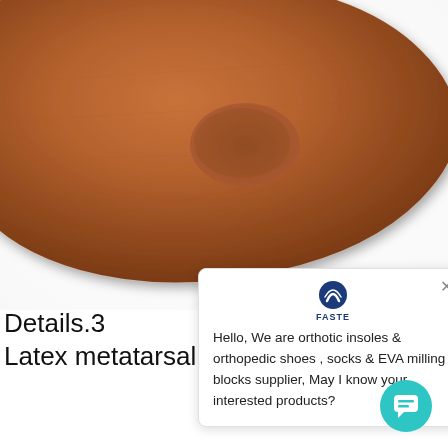[Figure (photo): Close-up photo of a brown/tan orthotic insole with a metatarsal pad bump visible in the upper-center area. The insole is viewed from above at an angle, showing a suede-like brown surface texture.]
Details.3
Latex metatarsal pad
[Figure (screenshot): Chat widget popup showing FASTE brand logo at top center with a close (X) button, and message: Hello, We are orthotic insoles & orthopedic shoes , socks & EVA milling blocks supplier, May I know your interested products?]
[Figure (other): Teal/cyan circular chat bubble button icon in bottom-right corner]